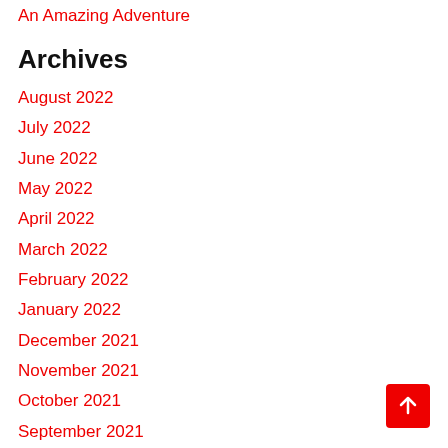An Amazing Adventure
Archives
August 2022
July 2022
June 2022
May 2022
April 2022
March 2022
February 2022
January 2022
December 2021
November 2021
October 2021
September 2021
August 2021